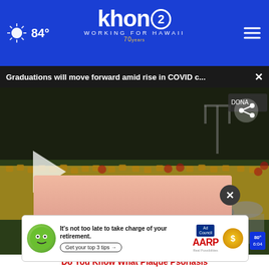khon2 — WORKING FOR HAWAII — 84°
Graduations will move forward amid rise in COVID c...
[Figure (screenshot): Video thumbnail showing a graduation ceremony at a stadium at night, graduates in gold and red caps and gowns seated in rows, some with umbrellas. Large play button visible. khon2 logo watermark in bottom right with 80° 6:04. Share icon top right.]
[Figure (advertisement): AARP advertisement banner: 'It's not too late to take charge of your retirement. Get your top 3 tips.' with green mascot face, Ad Council logo, AARP logo, and sun graphic. Close button X above.]
Do You Know What Plaque Psoriasis